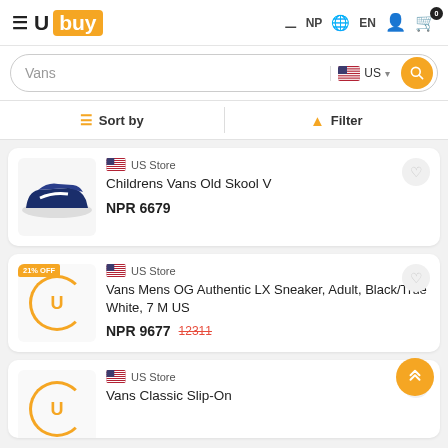[Figure (screenshot): Ubuy e-commerce website header with logo, NP region, EN language, user icon, and cart (0 items)]
[Figure (screenshot): Search bar with 'Vans' query, US store flag, dropdown, and search button]
Sort by | Filter
US Store
Childrens Vans Old Skool V
NPR 6679
21% OFF
US Store
Vans Mens OG Authentic LX Sneaker, Adult, Black/True White, 7 M US
NPR 9677  12311
US Store
Vans Classic Slip-On